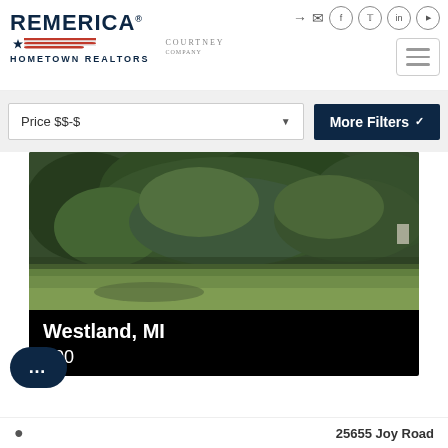Remerica Hometown Realtors — navigation header with social icons and hamburger menu
Price $$-$
More Filters
[Figure (photo): Outdoor photo showing dense green trees/bushes in background with green lawn in foreground — property exterior view]
Westland, MI
$...00
25655 Joy Road